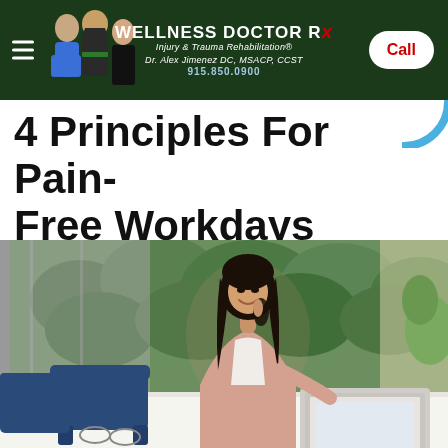WELLNESS DOCTOR Rx — Injury & Trauma Rehabilitation® — Dr. Alex Jimenez DC, MSACP, CCST — 915.850.0900 — Call
4 Principles For Pain-Free Workdays
[Figure (photo): A smiling Asian woman in a pink blazer talking on the phone while sitting at a white desk with a laptop and books, with a green plant wall in the background and blue chairs nearby.]